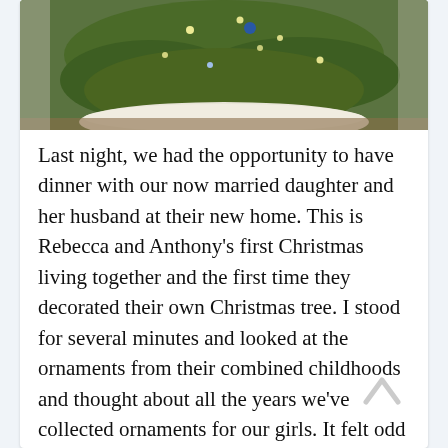[Figure (photo): Bottom portion of a decorated Christmas tree with green branches, lights, ornaments, and a white tree skirt on a wooden floor.]
Last night, we had the opportunity to have dinner with our now married daughter and her husband at their new home. This is Rebecca and Anthony's first Christmas living together and the first time they decorated their own Christmas tree. I stood for several minutes and looked at the ornaments from their combined childhoods and thought about all the years we've collected ornaments for our girls. It felt odd to see Rebecca's ornaments on a tree other than our family tree, but it was a beautiful, comforting feeling to know that a big part of her childhood hangs on the tree in her new home. We